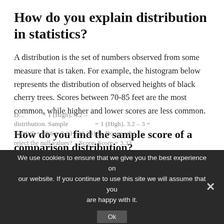How do you explain distribution in statistics?
A distribution is the set of numbers observed from some measure that is taken. For example, the histogram below represents the distribution of observed heights of black cherry trees. Scores between 70-85 feet are the most common, while higher and lower scores are less common.
How do you find the sample score of a comparison distribution?
Distribution. Sample ... = 1 (High). 3.2 – (300)/6 = 20/6 = 3.33. (0.2313). Do we reject the null values? Score: Score = 3.33
We use cookies to ensure that we give you the best experience on our website. If you continue to use this site we will assume that you are happy with it.